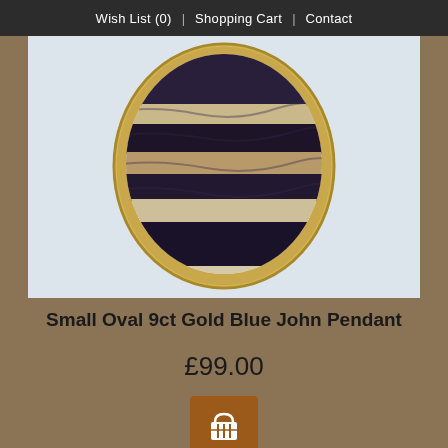Wish List (0) | Shopping Cart | Contact
[Figure (photo): Close-up photo of a Small Oval 9ct Gold Blue John Pendant showing an oval gemstone with dark purple/black and cream/beige banding in a gold setting, on a white background.]
Small Oval 9ct Gold Blue John Pendant
£99.00
[Figure (illustration): Add to cart button with shopping basket icon on a brown/orange square button.]